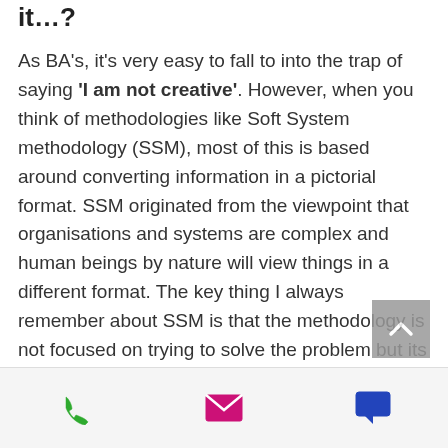it…?
As BA's, it's very easy to fall to into the trap of saying 'I am not creative'. However, when you think of methodologies like Soft System methodology (SSM), most of this is based around converting information in a pictorial format. SSM originated from the viewpoint that organisations and systems are complex and human beings by nature will view things in a different format. The key thing I always remember about SSM is that the methodology is not focused on trying to solve the problem but its more about analysing a situation.